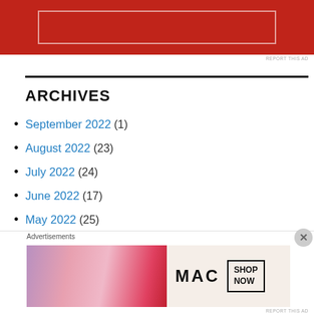[Figure (other): Red advertisement banner at top of page with white rectangular outline inside]
ARCHIVES
September 2022 (1)
August 2022 (23)
July 2022 (24)
June 2022 (17)
May 2022 (25)
April 2022 (28)
March 2022 (21)
[Figure (other): MAC cosmetics advertisement showing lipsticks with SHOP NOW button]